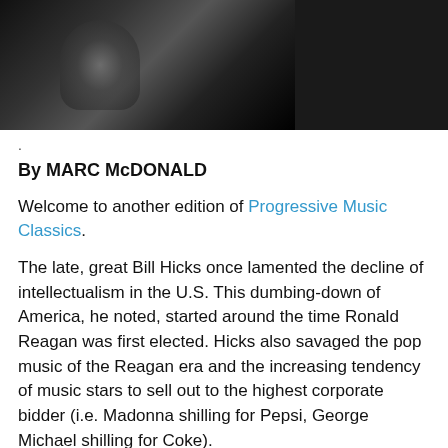[Figure (photo): Black and white photograph, partially cropped at top, showing a dark scene.]
.
By MARC McDONALD
Welcome to another edition of Progressive Music Classics.
The late, great Bill Hicks once lamented the decline of intellectualism in the U.S. This dumbing-down of America, he noted, started around the time Ronald Reagan was first elected. Hicks also savaged the pop music of the Reagan era and the increasing tendency of music stars to sell out to the highest corporate bidder (i.e. Madonna shilling for Pepsi, George Michael shilling for Coke).
"What kind of Reagan wet dream do we live in today?" Hicks once asked, in slamming the gutless, money-grubbing pop stars who sold out in the 1980s.
One wonders what Hicks would have thought about today's